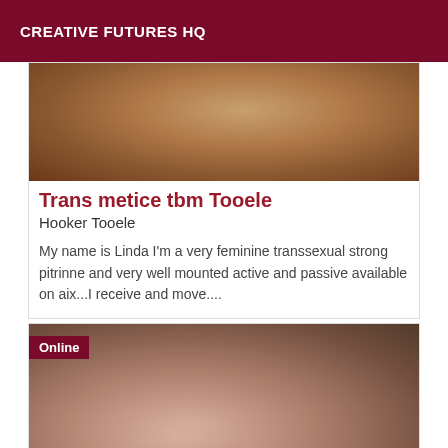CREATIVE FUTURES HQ
[Figure (photo): Close-up photo of a person's face, cropped at top, warm brown tones]
Trans metice tbm Tooele
Hooker Tooele
My name is Linda I'm a very feminine transsexual strong pitrinne and very well mounted active and passive available on aix...I receive and move....
[Figure (photo): Portrait photo of a young woman with dark hair touching her face, with an 'Online' badge overlay]